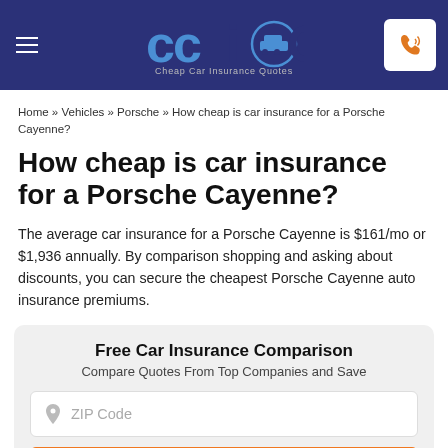Cheap Car Insurance Quotes — CCIQ logo and phone button
Home » Vehicles » Porsche » How cheap is car insurance for a Porsche Cayenne?
How cheap is car insurance for a Porsche Cayenne?
The average car insurance for a Porsche Cayenne is $161/mo or $1,936 annually. By comparison shopping and asking about discounts, you can secure the cheapest Porsche Cayenne auto insurance premiums.
Free Car Insurance Comparison
Compare Quotes From Top Companies and Save
ZIP Code